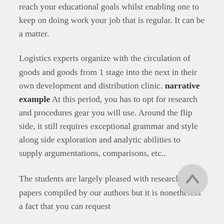reach your educational goals whilst enabling one to keep on doing work your job that is regular. It can be a matter.
Logistics experts organize with the circulation of goods and goods from 1 stage into the next in their own development and distribution clinic. narrative example At this period, you has to opt for research and procedures gear you will use. Around the flip side, it still requires exceptional grammar and style along side exploration and analytic abilities to supply argumentations, comparisons, etc..
The students are largely pleased with research papers compiled by our authors but it is nonetheless a fact that you can request
[Figure (other): A circular scroll-to-top button with an upward arrow, light gray background]